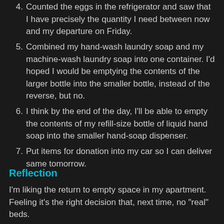4. Counted the eggs in the refrigerator and saw that I have precisely the quantity I need between now and my departure on Friday.
5. Combined my hand-wash laundry soap and my machine-wash laundry soap into one container. I'd hoped I would be emptying the contents of the larger bottle into the smaller bottle, instead of the reverse, but no.
6. I think by the end of the day, I'll be able to empty the contents of my refill-size bottle of liquid hand soap into the smaller hand-soap dispenser.
7. Put items for donation into my car so I can deliver same tomorrow.
Reflection
I'm liking the return to empty space in my apartment. Feeling it's the right decision that, next time, no "real" beds.